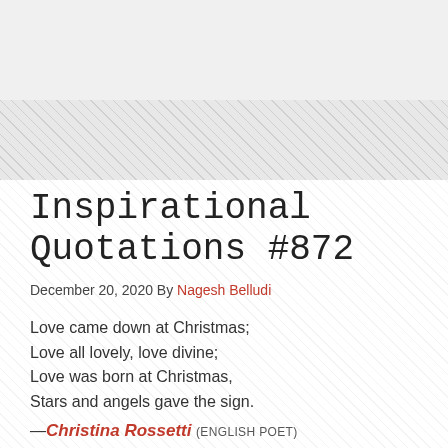Inspirational Quotations #872
December 20, 2020 By Nagesh Belludi
Love came down at Christmas;
Love all lovely, love divine;
Love was born at Christmas,
Stars and angels gave the sign.
—Christina Rossetti (ENGLISH POET)